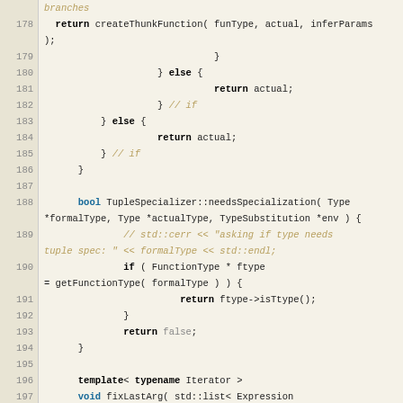[Figure (screenshot): Source code listing lines 178-201 of C++ code showing TupleSpecializer functions with syntax highlighting. Line numbers in left gutter, keywords in bold, comments in italic orange/tan color, string literals in orange.]